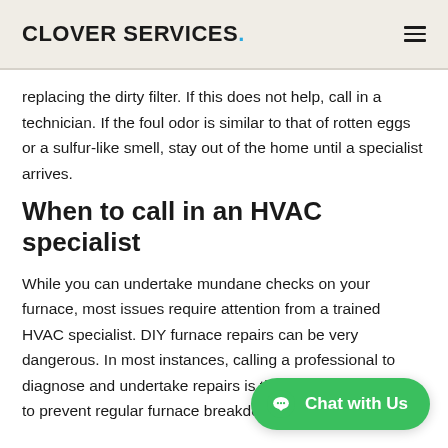Clover Services.
replacing the dirty filter. If this does not help, call in a technician. If the foul odor is similar to that of rotten eggs or a sulfur-like smell, stay out of the home until a specialist arrives.
When to call in an HVAC specialist
While you can undertake mundane checks on your furnace, most issues require attention from a trained HVAC specialist. DIY furnace repairs can be very dangerous. In most instances, calling a professional to diagnose and undertake repairs is the… to prevent regular furnace breakdowns, ensure you